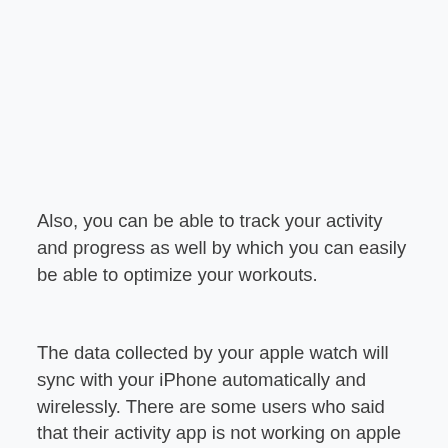Also, you can be able to track your activity and progress as well by which you can easily be able to optimize your workouts.
The data collected by your apple watch will sync with your iPhone automatically and wirelessly. There are some users who said that their activity app is not working on apple watch in a proper manner and they also don't know the reason behind it.